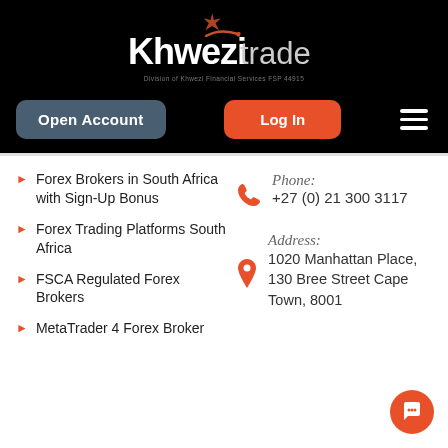[Figure (logo): KhweziTrade logo on black background with orange bird icon, white bold 'Khwezi' and light 'trade' text, subtitle 'Division of Khwezi Financial Services FSP 44915']
Open Account
Log In
Forex Brokers in South Africa with Sign-Up Bonus
Forex Trading Platforms South Africa
FSCA Regulated Forex Brokers
MetaTrader 4 Forex Broker
Phone: +27 (0) 21 300 3117
Address: 1020 Manhattan Place, 130 Bree Street Cape Town, 8001